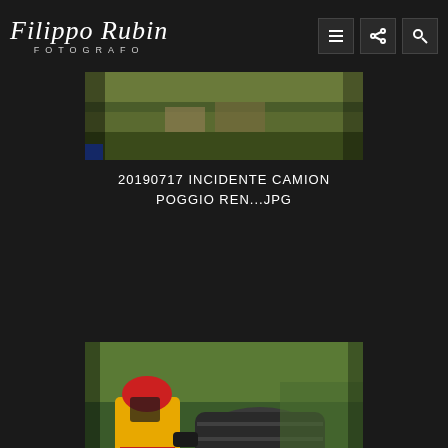Filippo Rubin FOTOGRAFO
[Figure (photo): Rescue workers or firefighters with equipment near a ditch or drainage area with green grass and vegetation]
20190717 INCIDENTE CAMION POGGIO REN...JPG
[Figure (photo): A rescue worker in yellow and red hazmat/protective suit wearing a red helmet, pulling a large dark cylindrical barrel or drum from water, with green reeds/vegetation in background]
20190717 INCIDENTE CAMION